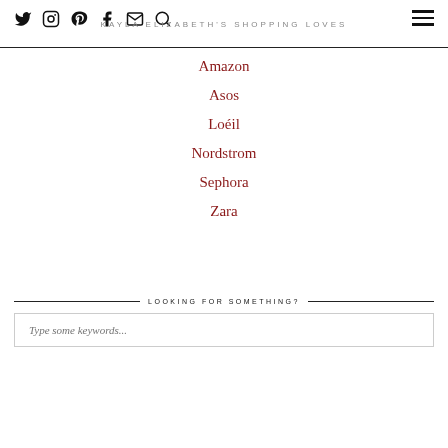KAYLA ELIZABETH'S SHOPPING LOVES
Amazon
Asos
Loéil
Nordstrom
Sephora
Zara
LOOKING FOR SOMETHING?
Type some keywords...